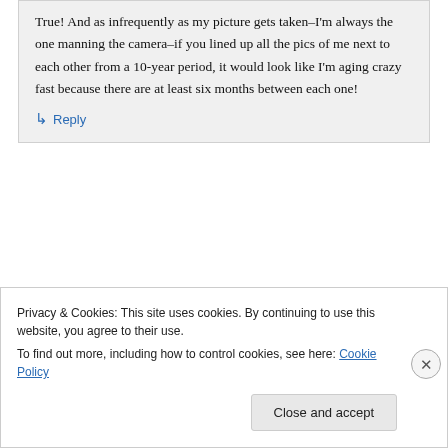True! And as infrequently as my picture gets taken–I'm always the one manning the camera–if you lined up all the pics of me next to each other from a 10-year period, it would look like I'm aging crazy fast because there are at least six months between each one!
↳ Reply
Privacy & Cookies: This site uses cookies. By continuing to use this website, you agree to their use. To find out more, including how to control cookies, see here: Cookie Policy
Close and accept